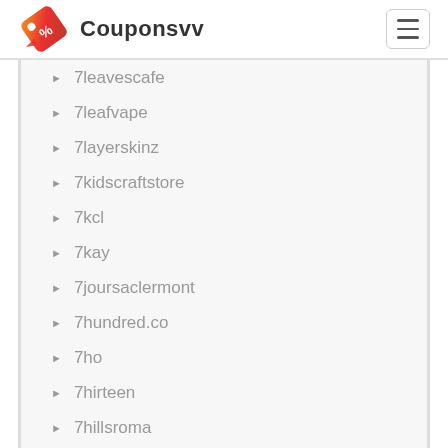Couponsvv
7leavescafe
7leafvape
7layerskinz
7kidscraftstore
7kcl
7kay
7joursaclermont
7hundred.co
7ho
7hirteen
7hillsroma
7gvld
7glamofficial
7genfund
7generationgames